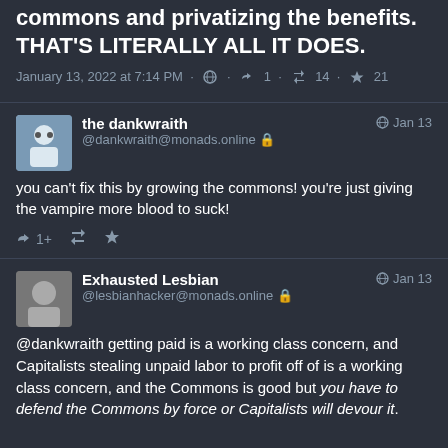commons and privatizing the benefits. THAT'S LITERALLY ALL IT DOES.
January 13, 2022 at 7:14 PM · 🌐 · 🔁 1 · 🔄 14 · ⭐ 21
the dankwraith @dankwraith@monads.online 🔒 Jan 13 — you can't fix this by growing the commons! you're just giving the vampire more blood to suck!
Exhausted Lesbian @lesbianhacker@monads.online 🔒 Jan 13 — @dankwraith getting paid is a working class concern, and Capitalists stealing unpaid labor to profit off of is a working class concern, and the Commons is good but you have to defend the Commons by force or Capitalists will devour it.